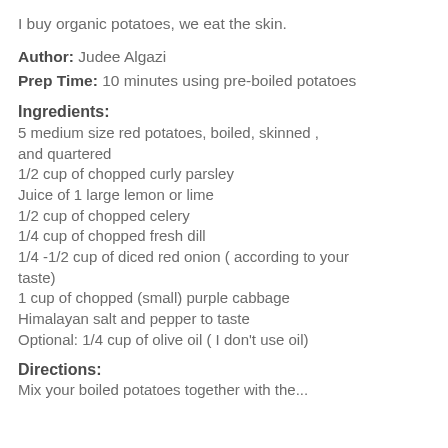I buy organic potatoes, we eat the skin.
Author: Judee Algazi
Prep Time: 10 minutes using pre-boiled potatoes
Ingredients:
5 medium size red potatoes, boiled, skinned , and quartered
1/2 cup of chopped curly parsley
Juice of 1 large lemon or lime
1/2 cup of chopped celery
1/4 cup of chopped fresh dill
1/4 -1/2 cup of diced red onion ( according to your taste)
1 cup of chopped (small) purple cabbage
Himalayan salt and pepper to taste
Optional: 1/4 cup of olive oil ( I don't use oil)
Directions:
Mix your boiled potatoes together with the...